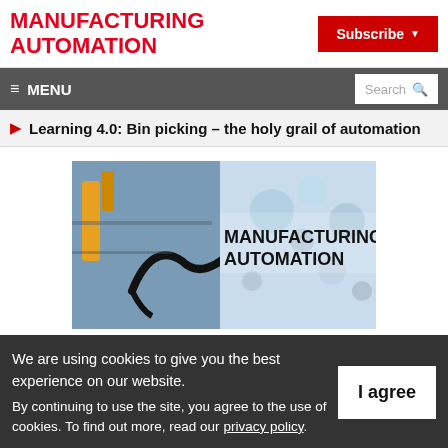MANUFACTURING AUTOMATION
Subscribe
≡ MENU | Search
Learning 4.0: Bin picking – the holy grail of automation
[Figure (photo): Manufacturing Automation magazine cover image showing industrial robots and automation equipment with the text MANUFACTURING AUTOMATION overlaid]
We are using cookies to give you the best experience on our website.
By continuing to use the site, you agree to the use of cookies. To find out more, read our privacy policy.
I agree